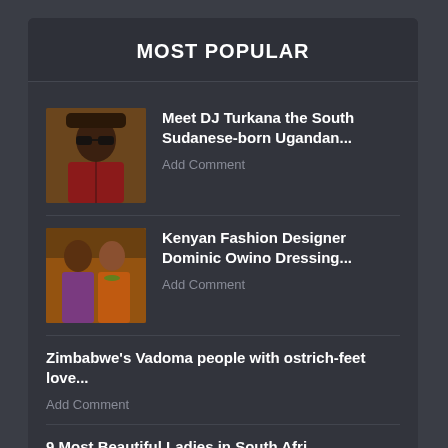MOST POPULAR
Meet DJ Turkana the South Sudanese-born Ugandan...
Add Comment
Kenyan Fashion Designer Dominic Owino Dressing...
Add Comment
Zimbabwe's Vadoma people with ostrich-feet love...
Add Comment
9 Most Beautiful Ladies in South Afri...